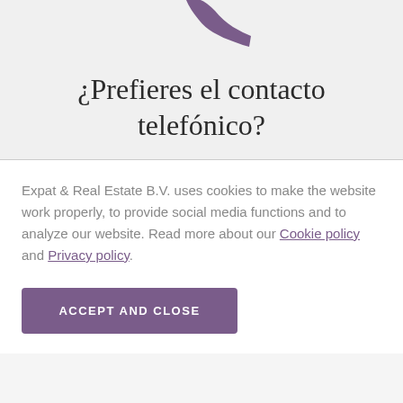[Figure (illustration): Purple telephone handset icon, partially cropped at the top of the page]
¿Prefieres el contacto telefónico?
Expat & Real Estate B.V. uses cookies to make the website work properly, to provide social media functions and to analyze our website. Read more about our Cookie policy and Privacy policy.
ACCEPT AND CLOSE